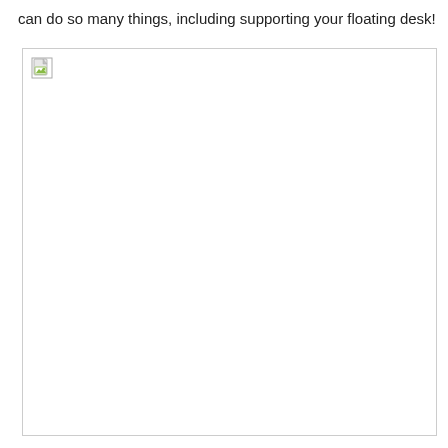can do so many things, including supporting your floating desk!
[Figure (photo): A broken/missing image placeholder with a small broken image icon in the top-left corner, shown inside a rectangular bordered box.]